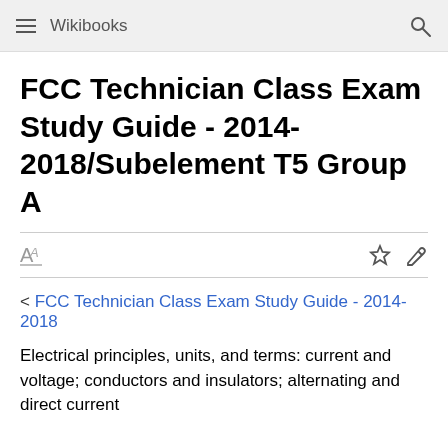Wikibooks
FCC Technician Class Exam Study Guide - 2014-2018/Subelement T5 Group A
< FCC Technician Class Exam Study Guide - 2014-2018
Electrical principles, units, and terms: current and voltage; conductors and insulators; alternating and direct current
The Question Pool